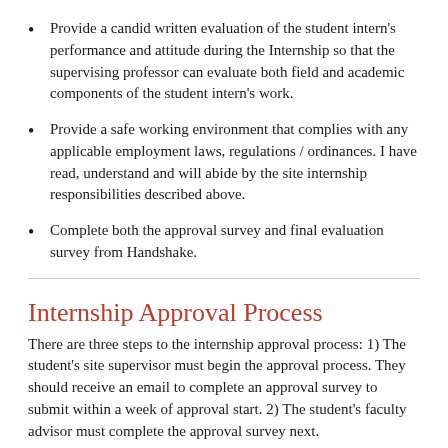Provide a candid written evaluation of the student intern's performance and attitude during the Internship so that the supervising professor can evaluate both field and academic components of the student intern's work.
Provide a safe working environment that complies with any applicable employment laws, regulations / ordinances. I have read, understand and will abide by the site internship responsibilities described above.
Complete both the approval survey and final evaluation survey from Handshake.
Internship Approval Process
There are three steps to the internship approval process: 1) The student's site supervisor must begin the approval process. They should receive an email to complete an approval survey to submit within a week of approval start. 2) The student's faculty advisor must complete the approval survey next.